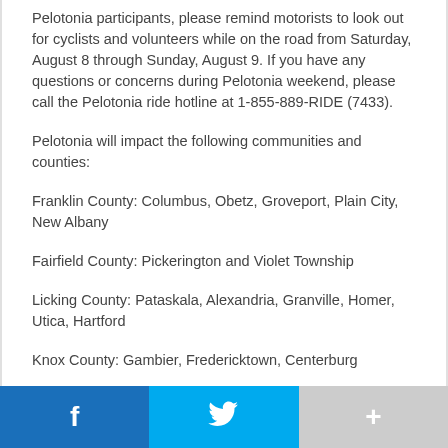Pelotonia participants, please remind motorists to look out for cyclists and volunteers while on the road from Saturday, August 8 through Sunday, August 9. If you have any questions or concerns during Pelotonia weekend, please call the Pelotonia ride hotline at 1-855-889-RIDE (7433).
Pelotonia will impact the following communities and counties:
Franklin County: Columbus, Obetz, Groveport, Plain City, New Albany
Fairfield County: Pickerington and Violet Township
Licking County: Pataskala, Alexandria, Granville, Homer, Utica, Hartford
Knox County: Gambier, Fredericktown, Centerburg
Richland County: Butler
[Figure (infographic): Social media sharing bar with Facebook (blue), Twitter (light blue), and a plus/more button (gray)]